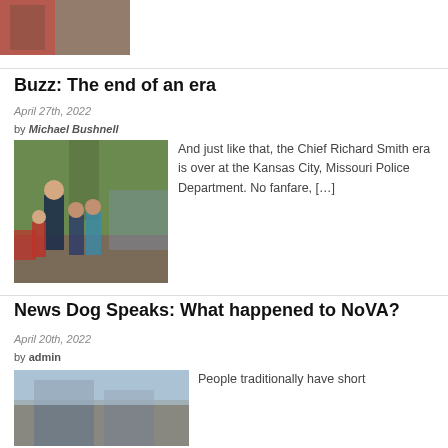[Figure (photo): Partial image at top of page, appears to show a building exterior]
Buzz: The end of an era
April 27th, 2022
by Michael Bushnell
[Figure (photo): Photo of a police officer posing with three children at an outdoor event, large tree in background]
And just like that, the Chief Richard Smith era is over at the Kansas City, Missouri Police Department. No fanfare, […]
News Dog Speaks: What happened to NoVA?
April 20th, 2022
by admin
[Figure (photo): Partial photo at bottom of page showing a building or structure]
People traditionally have short